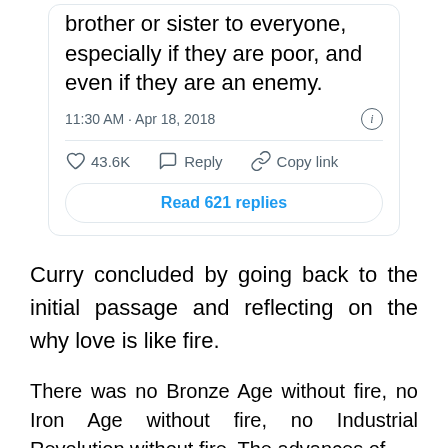[Figure (screenshot): Screenshot of a tweet card showing partial tweet text 'brother or sister to everyone, especially if they are poor, and even if they are an enemy.' with timestamp '11:30 AM · Apr 18, 2018', like count 43.6K, Reply and Copy link actions, and a 'Read 621 replies' button.]
Curry concluded by going back to the initial passage and reflecting on the why love is like fire.
There was no Bronze Age without fire, no Iron Age without fire, no Industrial Revolution without fire. The advances of